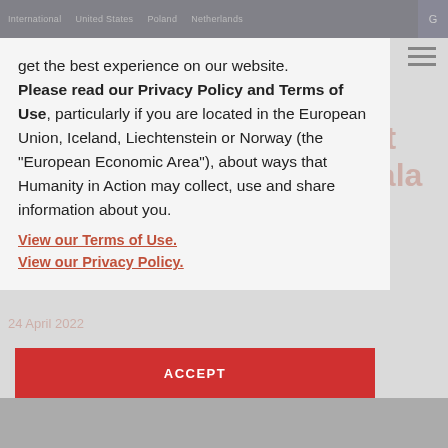International  United States  Poland  Netherlands  G
get the best experience on our website. Please read our Privacy Policy and Terms of Use, particularly if you are located in the European Union, Iceland, Liechtenstein or Norway (the “European Economic Area”), about ways that Humanity in Action may collect, use and share information about you.
View our Terms of Use.
View our Privacy Policy.
ACCEPT
USA / NEWS / DR. ASHA TO BE HONORED AT 2022...
Dr. Asha to be honored at 2022 Building Bridges Gala
24 April 2022